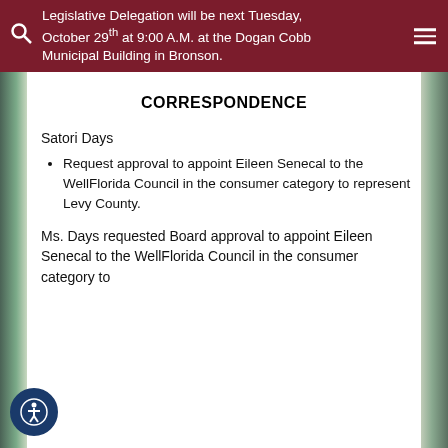… Monday, minutes of Levy and the Legislative Delegation will be next Tuesday, October 29th at 9:00 A.M. at the Dogan Cobb Municipal Building in Bronson.
CORRESPONDENCE
Satori Days
Request approval to appoint Eileen Senecal to the WellFlorida Council in the consumer category to represent Levy County.
Ms. Days requested Board approval to appoint Eileen Senecal to the WellFlorida Council in the consumer category to